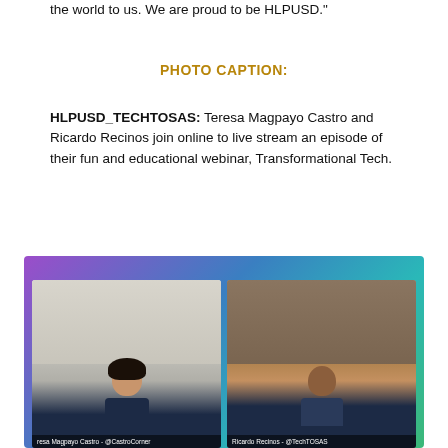the world to us. We are proud to be HLPUSD."
PHOTO CAPTION:
HLPUSD_TECHTOSAS: Teresa Magpayo Castro and Ricardo Recinos join online to live stream an episode of their fun and educational webinar, Transformational Tech.
[Figure (photo): Screenshot of a live stream webinar showing two participants in video boxes side by side. Left box shows Teresa Magpayo Castro (@CastroCorner), a woman with dark hair wearing a dark top, smiling. Right box shows Ricardo Recinos (@TechTOSAS), a man smiling, wearing a dark hoodie. The stream has a colorful purple-blue-teal gradient banner at the top.]